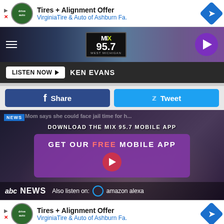[Figure (screenshot): Ad banner: Tires + Alignment Offer by VirginiaTire & Auto of Ashburn Fa. with play/close controls and directional arrow icon]
[Figure (screenshot): MIX 95.7 West Michigan radio station header with hamburger menu, logo, and play button on purple background]
LISTEN NOW   KEN EVANS
[Figure (screenshot): Social sharing buttons: f Share (Facebook, blue) and Tweet (Twitter, cyan)]
[Figure (screenshot): Video overlay area with NEWS tag, headline text, DOWNLOAD THE MIX 95.7 MOBILE APP, GET OUR FREE MOBILE APP button, video play button, ABC NEWS logo, and Also listen on: amazon alexa text]
[Figure (screenshot): Ad banner (bottom): Tires + Alignment Offer by VirginiaTire & Auto of Ashburn Fa. with directional arrow icon]